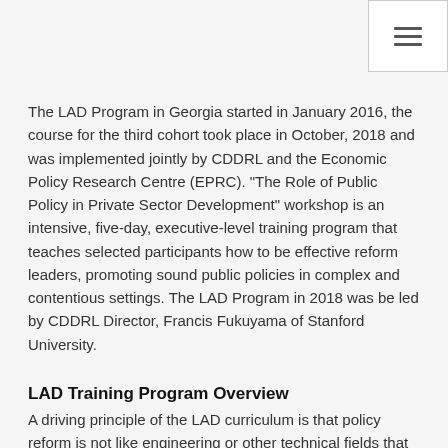[hamburger menu icon]
The LAD Program in Georgia started in January 2016, the course for the third cohort took place in October, 2018 and was implemented jointly by CDDRL and the Economic Policy Research Centre (EPRC). "The Role of Public Policy in Private Sector Development" workshop is an intensive, five-day, executive-level training program that teaches selected participants how to be effective reform leaders, promoting sound public policies in complex and contentious settings. The LAD Program in 2018 was be led by CDDRL Director, Francis Fukuyama of Stanford University.
LAD Training Program Overview
A driving principle of the LAD curriculum is that policy reform is not like engineering or other technical fields that require mastery of discrete skills and availability of